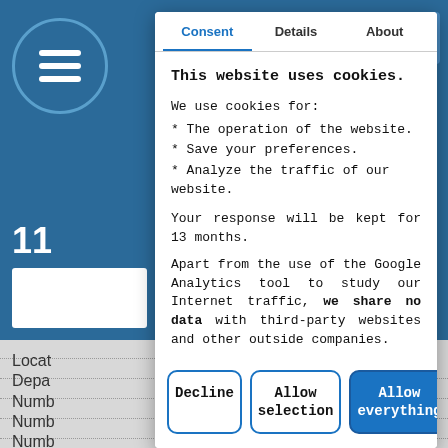[Figure (screenshot): Background of a blue website with a circular logo icon (hamburger menu) on the left, partial text '11' and 'rs' and 'on' visible, and a gray bottom section with dotted-line labels 'Locat', 'Depa', 'Numb', 'Numb', 'Numb' visible behind the modal overlay.]
Consent	Details	About
This website uses cookies.
We use cookies for:
* The operation of the website.
* Save your preferences.
* Analyze the traffic of our website.
Your response will be kept for 13 months.
Apart from the use of the Google Analytics tool to study our Internet traffic, we share no data with third-party websites and other outside companies.
Decline
Allow selection
Allow everything